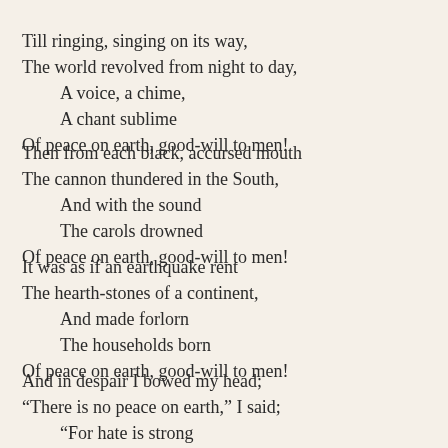Till ringing, singing on its way,
The world revolved from night to day,
    A voice, a chime,
    A chant sublime
Of peace on earth, good-will to men!
Then from each black, accursed mouth
The cannon thundered in the South,
    And with the sound
    The carols drowned
Of peace on earth, good-will to men!
It was as if an earthquake rent
The hearth-stones of a continent,
    And made forlorn
    The households born
Of peace on earth, good-will to men!
And in despair I bowed my head;
“There is no peace on earth,” I said;
    “For hate is strong